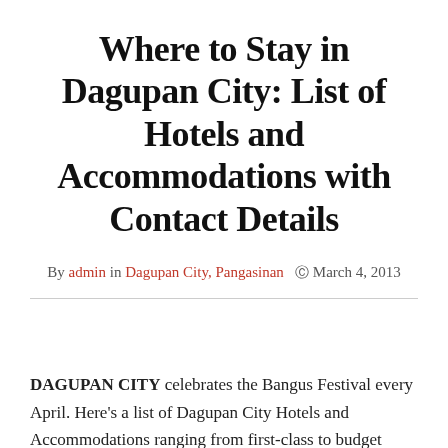Where to Stay in Dagupan City: List of Hotels and Accommodations with Contact Details
By admin in Dagupan City, Pangasinan  ©  March 4, 2013
DAGUPAN CITY celebrates the Bangus Festival every April. Here's a list of Dagupan City Hotels and Accommodations ranging from first-class to budget hotels.